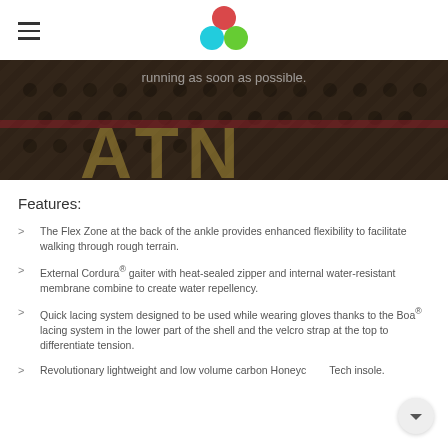[Figure (photo): Close-up photo of a running/hiking shoe with dotted pattern and large text reading partially visible letters (ATN), with overlay text 'running as soon as possible.']
Features:
The Flex Zone at the back of the ankle provides enhanced flexibility to facilitate walking through rough terrain.
External Cordura® gaiter with heat-sealed zipper and internal water-resistant membrane combine to create water repellency.
Quick lacing system designed to be used while wearing gloves thanks to the Boa® lacing system in the lower part of the shell and the velcro strap at the top to differentiate tension.
Revolutionary lightweight and low volume carbon Honeycomb Tech insole.